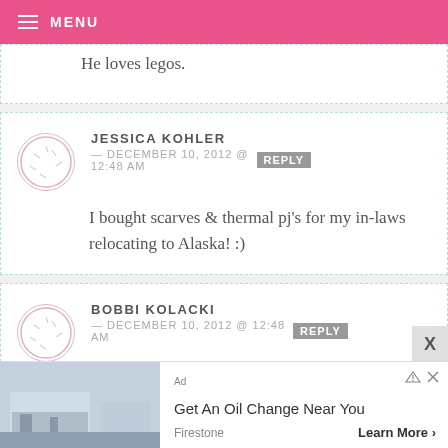MENU
He loves legos.
JESSICA KOHLER — DECEMBER 10, 2012 @ 12:48 AM REPLY
I bought scarves & thermal pj's for my in-laws relocating to Alaska! :)
BOBBI KOLACKI — DECEMBER 10, 2012 @ 12:48 AM REPLY
[Figure (other): Ad banner: Get An Oil Change Near You - Firestone - Learn More]